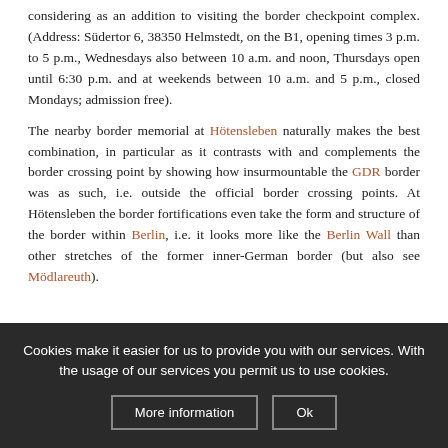considering as an addition to visiting the border checkpoint complex. (Address: Südertor 6, 38350 Helmstedt, on the B1, opening times 3 p.m. to 5 p.m., Wednesdays also between 10 a.m. and noon, Thursdays open until 6:30 p.m. and at weekends between 10 a.m. and 5 p.m., closed Mondays; admission free).
The nearby border memorial at Hötensleben naturally makes the best combination, in particular as it contrasts with and complements the border crossing point by showing how insurmountable the GDR border was as such, i.e. outside the official border crossing points. At Hötensleben the border fortifications even take the form and structure of the border within Berlin, i.e. it looks more like the Berlin Wall than other stretches of the former inner-German border (but also see Mödlareuth).
Cookies make it easier for us to provide you with our services. With the usage of our services you permit us to use cookies.